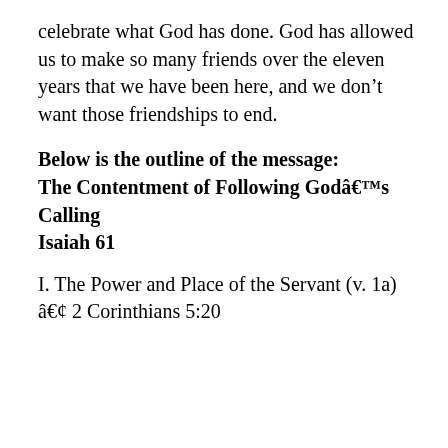celebrate what God has done. God has allowed us to make so many friends over the eleven years that we have been here, and we don't want those friendships to end.
Below is the outline of the message: The Contentment of Following Godâ€™s Calling
Isaiah 61
I. The Power and Place of the Servant (v. 1a)
â€¢ 2 Corinthians 5:20